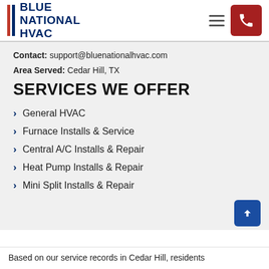BLUE NATIONAL HVAC
Contact: support@bluenationalhvac.com
Area Served: Cedar Hill, TX
SERVICES WE OFFER
General HVAC
Furnace Installs & Service
Central A/C Installs & Repair
Heat Pump Installs & Repair
Mini Split Installs & Repair
Based on our service records in Cedar Hill, residents